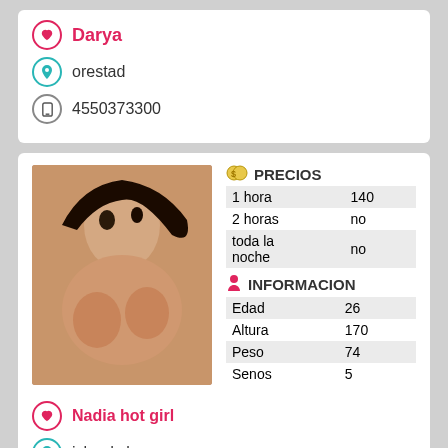Darya
orestad
4550373300
[Figure (photo): Photo of a woman with dark hair]
|  | PRECIOS |
| --- | --- |
| 1 hora | 140 |
| 2 horas | no |
| toda la noche | no |
|  | INFORMACION |
| --- | --- |
| Edad | 26 |
| Altura | 170 |
| Peso | 74 |
| Senos | 5 |
Nadia hot girl
islands brygge
4550143704
[Figure (photo): Black and white photo of a woman]
|  | PRECIOS |
| --- | --- |
| 1 hora | 3000 |